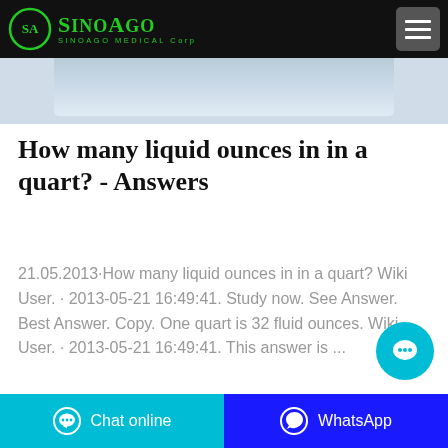SinoAgo Medical Corp
[Figure (photo): Partial image visible at top of page, appears to be a medical or product photo with blue/grey tones]
How many liquid ounces in in a quart? - Answers
21.05.2013·How many liquid ounces in in a quart? Wiki User. · 2013-05-21 16:49:41. Study now. See Answer. Best Answer. Copy. One quart is 32 fluid ounces. Wiki User. · 2013-05-21 16:49:41. This answer is ...
Chat online   WhatsApp